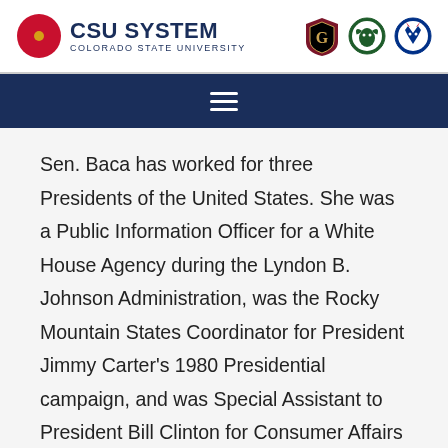CSU SYSTEM COLORADO STATE UNIVERSITY
Sen. Baca has worked for three Presidents of the United States. She was a Public Information Officer for a White House Agency during the Lyndon B. Johnson Administration, was the Rocky Mountain States Coordinator for President Jimmy Carter's 1980 Presidential campaign, and was Special Assistant to President Bill Clinton for Consumer Affairs and Director of the United States Office of Consumer Affairs. During the 2012 Campaign, Sen.